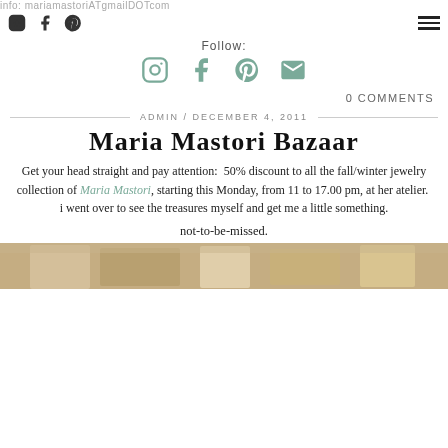info: mariamastoriATgmailDOTcom
Follow:
[Figure (other): Social media icons: Instagram, Facebook, Pinterest, Email in teal/sage color]
0 COMMENTS
ADMIN / DECEMBER 4, 2011
Maria Mastori Bazaar
Get your head straight and pay attention:  50% discount to all the fall/winter jewelry collection of Maria Mastori, starting this Monday, from 11 to 17.00 pm, at her atelier.  i went over to see the treasures myself and get me a little something.
not-to-be-missed.
[Figure (photo): Partial photo of jewelry or bazaar items at bottom of page]